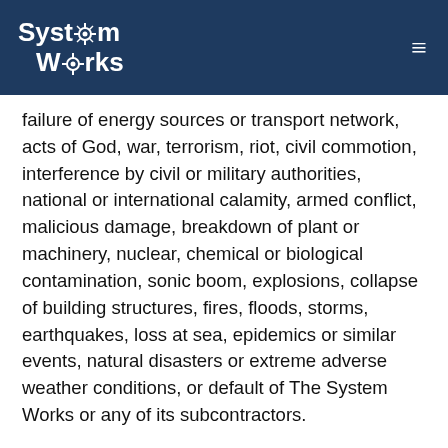System Works
failure of energy sources or transport network, acts of God, war, terrorism, riot, civil commotion, interference by civil or military authorities, national or international calamity, armed conflict, malicious damage, breakdown of plant or machinery, nuclear, chemical or biological contamination, sonic boom, explosions, collapse of building structures, fires, floods, storms, earthquakes, loss at sea, epidemics or similar events, natural disasters or extreme adverse weather conditions, or default of The System Works or any of its subcontractors.
12. Cancellations and Refunds (applies to S…